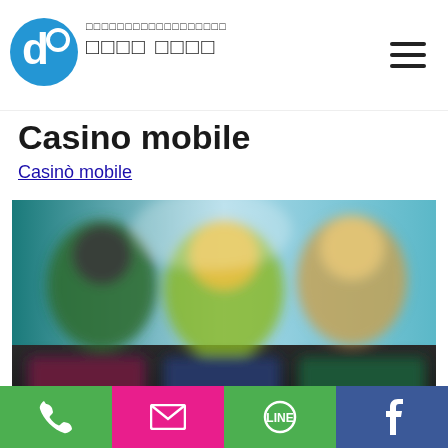□□□□□□□□□□□□□□□□□□ □□□□ □□□□
Casino mobile
Casinò mobile
[Figure (screenshot): Blurred screenshot of a casino mobile app interface showing game characters and game slots thumbnails on a dark background with teal/blue top section]
Phone | Email | LINE | Facebook